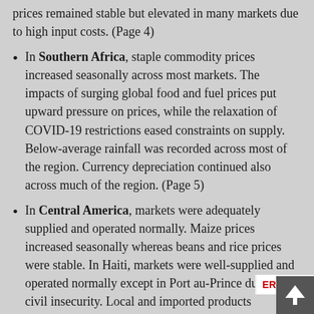prices remained stable but elevated in many markets due to high input costs. (Page 4)
In Southern Africa, staple commodity prices increased seasonally across most markets. The impacts of surging global food and fuel prices put upward pressure on prices, while the relaxation of COVID-19 restrictions eased constraints on supply. Below-average rainfall was recorded across most of the region. Currency depreciation continued also across much of the region. (Page 5)
In Central America, markets were adequately supplied and operated normally. Maize prices increased seasonally whereas beans and rice prices were stable. In Haiti, markets were well-supplied and operated normally except in Port au-Prince due to civil insecurity. Local and imported products increased due to seasonality and local currency depreciation. (Page 6)